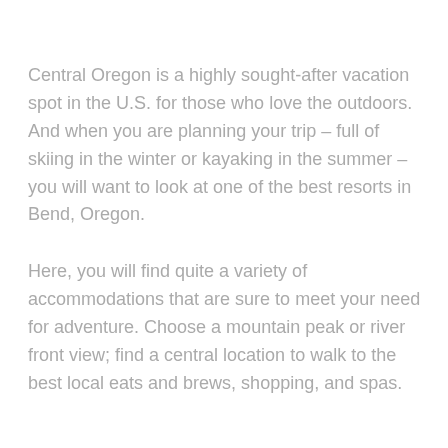Central Oregon is a highly sought-after vacation spot in the U.S. for those who love the outdoors. And when you are planning your trip – full of skiing in the winter or kayaking in the summer – you will want to look at one of the best resorts in Bend, Oregon.
Here, you will find quite a variety of accommodations that are sure to meet your need for adventure. Choose a mountain peak or river front view; find a central location to walk to the best local eats and brews, shopping, and spas.